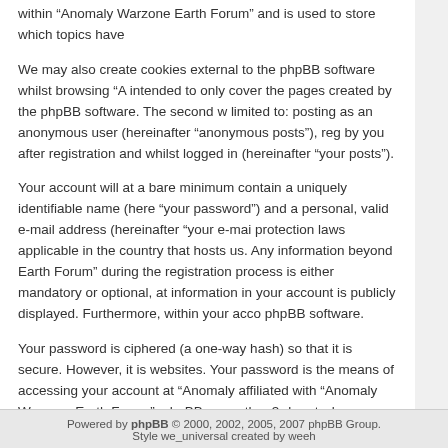within "Anomaly Warzone Earth Forum" and is used to store which topics have
We may also create cookies external to the phpBB software whilst browsing "A intended to only cover the pages created by the phpBB software. The second w limited to: posting as an anonymous user (hereinafter "anonymous posts"), reg by you after registration and whilst logged in (hereinafter "your posts").
Your account will at a bare minimum contain a uniquely identifiable name (here "your password") and a personal, valid e-mail address (hereinafter "your e-mai protection laws applicable in the country that hosts us. Any information beyond Earth Forum" during the registration process is either mandatory or optional, at information in your account is publicly displayed. Furthermore, within your acco phpBB software.
Your password is ciphered (a one-way hash) so that it is secure. However, it is websites. Your password is the means of accessing your account at "Anomaly affiliated with "Anomaly Warzone Earth Forum", phpBB or another 3rd party, le can use the "I forgot my password" feature provided by the phpBB software. Th will generate a new password to reclaim your account.
Back to login screen
Powered by phpBB © 2000, 2002, 2005, 2007 phpBB Group. Style we_universal created by weeh